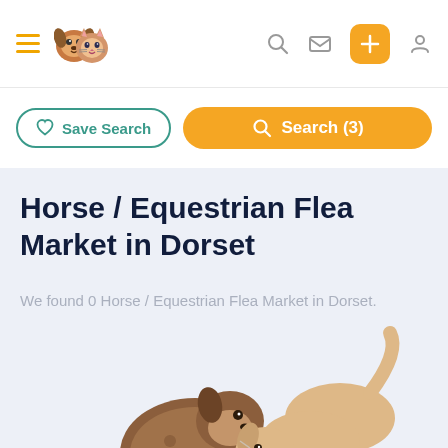Navigation bar with hamburger menu, logo, search, message, add, and profile icons
Save Search
Search (3)
Horse / Equestrian Flea Market in Dorset
We found 0 Horse / Equestrian Flea Market in Dorset.
[Figure (illustration): Illustration of two cartoon dogs sniffing each other, one brown/dark and one light tan/cream, on a light blue-grey background]